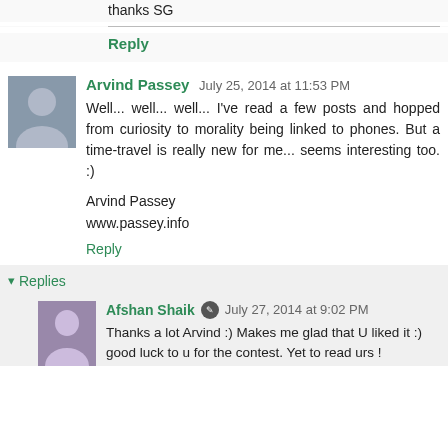thanks SG
Reply
Arvind Passey  July 25, 2014 at 11:53 PM
Well... well... well... I've read a few posts and hopped from curiosity to morality being linked to phones. But a time-travel is really new for me... seems interesting too. :)
Arvind Passey
www.passey.info
Reply
Replies
Afshan Shaik  July 27, 2014 at 9:02 PM
Thanks a lot Arvind :) Makes me glad that U liked it :)
good luck to u for the contest. Yet to read urs !